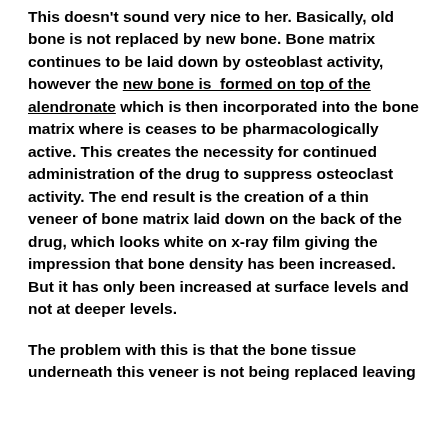This doesn't sound very nice to her. Basically, old bone is not replaced by new bone. Bone matrix continues to be laid down by osteoblast activity, however the new bone is formed on top of the alendronate which is then incorporated into the bone matrix where is ceases to be pharmacologically active. This creates the necessity for continued administration of the drug to suppress osteoclast activity. The end result is the creation of a thin veneer of bone matrix laid down on the back of the drug, which looks white on x-ray film giving the impression that bone density has been increased. But it has only been increased at surface levels and not at deeper levels.
The problem with this is that the bone tissue underneath this veneer is not being replaced leaving